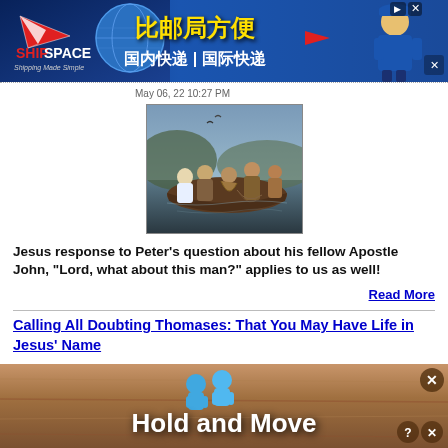[Figure (screenshot): ShipSpace shipping company advertisement banner with Chinese text reading 比邮局方便, 国内快递 | 国际快递, blue background with delivery man illustration]
May 06, 22 10:27 PM
[Figure (illustration): Classical painting depicting Jesus with Peter and other apostles in a boat, fishing scene]
Jesus response to Peter's question about his fellow Apostle John, "Lord, what about this man?" applies to us as well!
Read More
Calling All Doubting Thomases: That You May Have Life in Jesus' Name
[Figure (screenshot): Hold and Move advertisement with blue figures icon on wood-textured background]